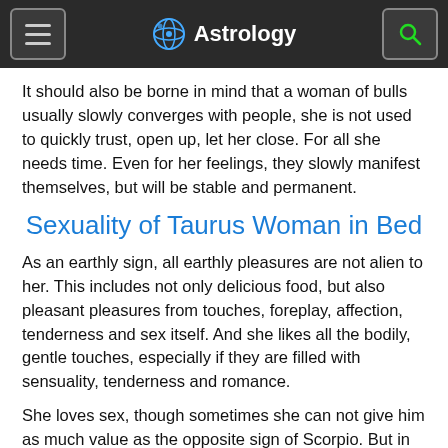Astrology
It should also be borne in mind that a woman of bulls usually slowly converges with people, she is not used to quickly trust, open up, let her close. For all she needs time. Even for her feelings, they slowly manifest themselves, but will be stable and permanent.
Sexuality of Taurus Woman in Bed
As an earthly sign, all earthly pleasures are not alien to her. This includes not only delicious food, but also pleasant pleasures from touches, foreplay, affection, tenderness and sex itself. And she likes all the bodily, gentle touches, especially if they are filled with sensuality, tenderness and romance.
She loves sex, though sometimes she can not give him as much value as the opposite sign of Scorpio. But in any